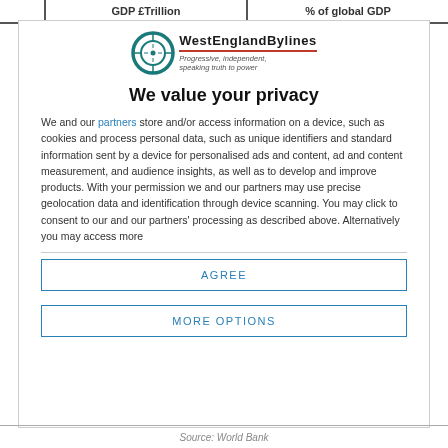GDP £Trillion | % of global GDP
[Figure (logo): West England Bylines logo with circular target icon and tagline 'Progressive, independent, speaking truth to power']
We value your privacy
We and our partners store and/or access information on a device, such as cookies and process personal data, such as unique identifiers and standard information sent by a device for personalised ads and content, ad and content measurement, and audience insights, as well as to develop and improve products. With your permission we and our partners may use precise geolocation data and identification through device scanning. You may click to consent to our and our partners' processing as described above. Alternatively you may access more
AGREE
MORE OPTIONS
Source: World Bank